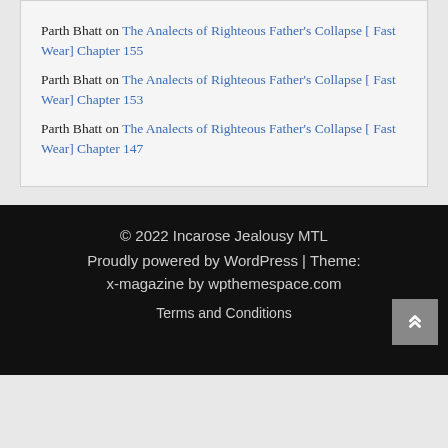Parth Bhatt on The Analects of Righteous Father's Collapse [ Fast Wear] Chapter 155
Parth Bhatt on The Analects of Righteous Father's Collapse [ Fast Wear] Chapter 153
Parth Bhatt on The Analects of Righteous Father's Collapse [ Fast Wear] Chapter 147
© 2022 Incarose Jealousy MTL Proudly powered by WordPress | Theme: x-magazine by wpthemespace.com Terms and Conditions